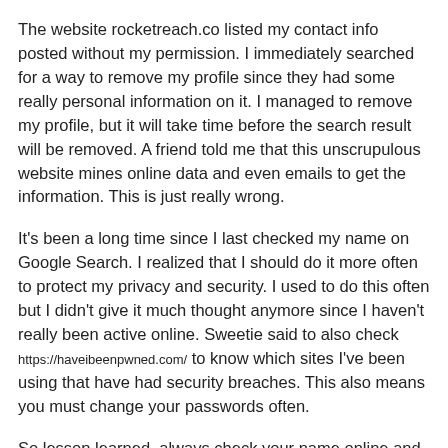The website rocketreach.co listed my contact info posted without my permission. I immediately searched for a way to remove my profile since they had some really personal information on it. I managed to remove my profile, but it will take time before the search result will be removed. A friend told me that this unscrupulous website mines online data and even emails to get the information. This is just really wrong.
It's been a long time since I last checked my name on Google Search. I realized that I should do it more often to protect my privacy and security. I used to do this often but I didn't give it much thought anymore since I haven't really been active online. Sweetie said to also check https://haveibeenpwned.com/ to know which sites I've been using that have had security breaches. This also means you must change your passwords often.
So lesson learned, always check your name online and make sure you don't put any of your contact info out there. Afaik I don't have any of my contact info published publicly